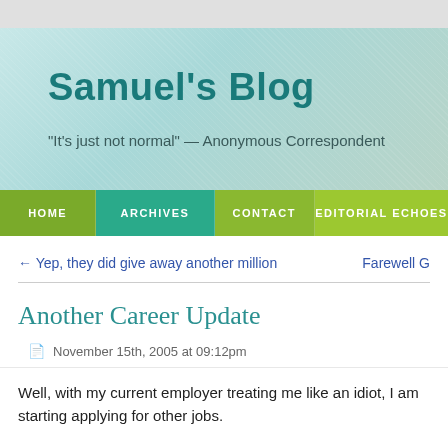Samuel's Blog
"It's just not normal" — Anonymous Correspondent
HOME | ARCHIVES | CONTACT | EDITORIAL ECHOES
← Yep, they did give away another million
Farewell G
Another Career Update
November 15th, 2005 at 09:12pm
Well, with my current employer treating me like an idiot, I am starting applying for other jobs.
Here is the basic rundown of what has happened without breaking any kind of confidentiality agreement etc